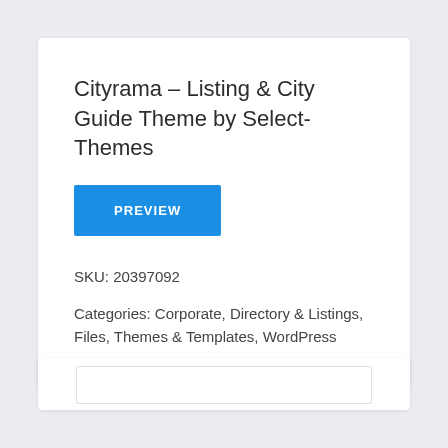Cityrama – Listing & City Guide Theme by Select-Themes
PREVIEW
SKU: 20397092
Categories: Corporate, Directory & Listings, Files, Themes & Templates, WordPress